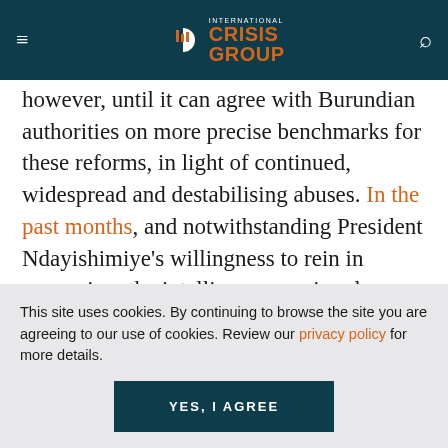International Crisis Group
however, until it can agree with Burundian authorities on more precise benchmarks for these reforms, in light of continued, widespread and destabilising abuses. In the past months, and notwithstanding President Ndayishimiye's willingness to rein in repression, the intelligence services have cracked down harder on government
This site uses cookies. By continuing to browse the site you are agreeing to our use of cookies. Review our privacy policy for more details.
YES, I AGREE